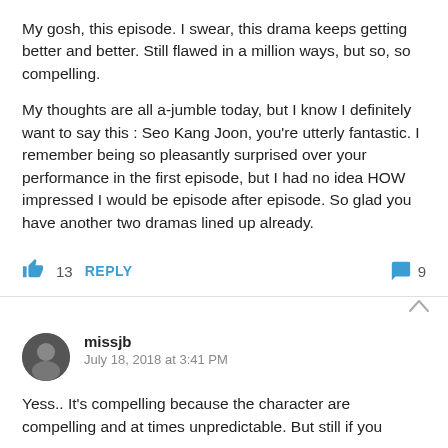My gosh, this episode. I swear, this drama keeps getting better and better. Still flawed in a million ways, but so, so compelling.
My thoughts are all a-jumble today, but I know I definitely want to say this : Seo Kang Joon, you’re utterly fantastic. I remember being so pleasantly surprised over your performance in the first episode, but I had no idea HOW impressed I would be episode after episode. So glad you have another two dramas lined up already.
13  REPLY  9
missjb
July 18, 2018 at 3:41 PM
Yess.. It’s compelling because the character are compelling and at times unpredictable. But still if you